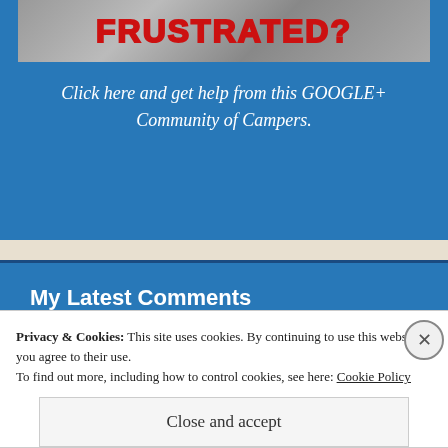[Figure (screenshot): Partially visible banner image with red text 'FRUSTRATED?' on a textured/photo background]
Click here and get help from this GOOGLE+ Community of Campers.
My Latest Comments
[Figure (photo): Small thumbnail photo of a couple (man and woman)]
Betty on Short RV Trips are Fun and Sav...
Privacy & Cookies: This site uses cookies. By continuing to use this website, you agree to their use.
To find out more, including how to control cookies, see here: Cookie Policy
Close and accept